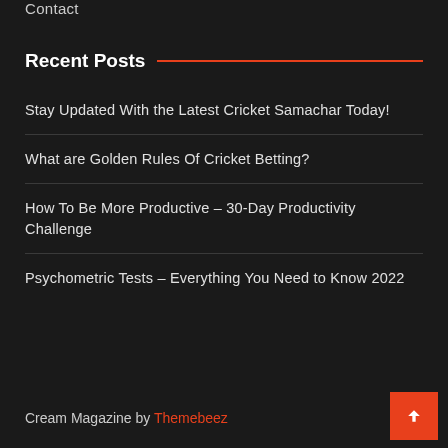Contact
Recent Posts
Stay Updated With the Latest Cricket Samachar Today!
What are Golden Rules Of Cricket Betting?
How To Be More Productive – 30-Day Productivity Challenge
Psychometric Tests – Everything You Need to Know 2022
Cream Magazine by Themebeez